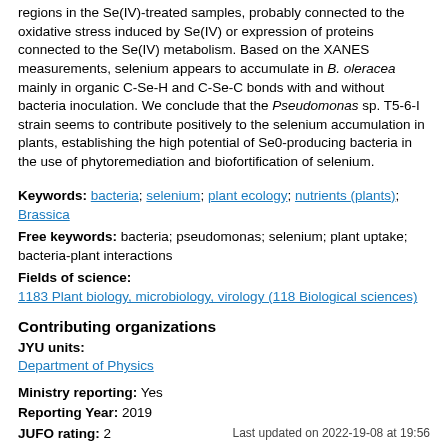regions in the Se(IV)-treated samples, probably connected to the oxidative stress induced by Se(IV) or expression of proteins connected to the Se(IV) metabolism. Based on the XANES measurements, selenium appears to accumulate in B. oleracea mainly in organic C-Se-H and C-Se-C bonds with and without bacteria inoculation. We conclude that the Pseudomonas sp. T5-6-I strain seems to contribute positively to the selenium accumulation in plants, establishing the high potential of Se0-producing bacteria in the use of phytoremediation and biofortification of selenium.
Keywords: bacteria; selenium; plant ecology; nutrients (plants); Brassica
Free keywords: bacteria; pseudomonas; selenium; plant uptake; bacteria-plant interactions
Fields of science:
1183 Plant biology, microbiology, virology (118 Biological sciences)
Contributing organizations
JYU units:
Department of Physics
Ministry reporting: Yes
Reporting Year: 2019
JUFO rating: 2
Last updated on 2022-19-08 at 19:56